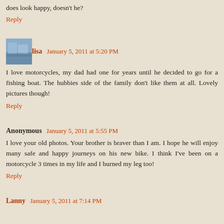does look happy, doesn't he?
Reply
lisa January 5, 2011 at 5:20 PM
I love motorcycles, my dad had one for years until he decided to go for a fishing boat. The hubbies side of the family don't like them at all. Lovely pictures though!
Reply
Anonymous January 5, 2011 at 5:55 PM
I love your old photos. Your brother is braver than I am. I hope he will enjoy many safe and happy journeys on his new bike. I think I've been on a motorcycle 3 times in my life and I burned my leg too!
Reply
Lanny January 5, 2011 at 7:14 PM